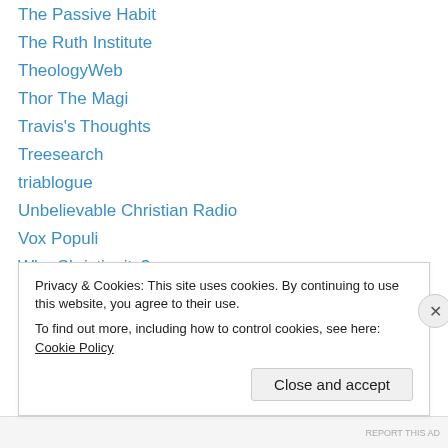The Passive Habit
The Ruth Institute
TheologyWeb
Thor The Magi
Travis's Thoughts
Treesearch
triablogue
Unbelievable Christian Radio
Vox Populi
Why Christianity?
Window or Mirror
WInfred Corduan
WordPress.com
Privacy & Cookies: This site uses cookies. By continuing to use this website, you agree to their use. To find out more, including how to control cookies, see here: Cookie Policy
Close and accept